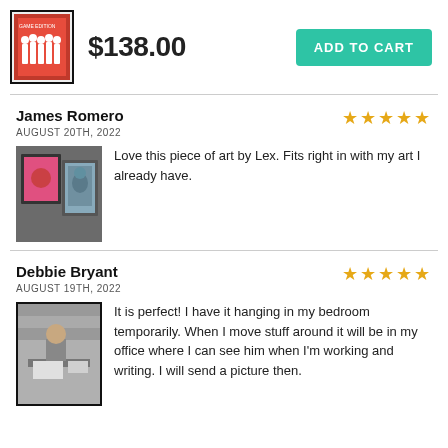[Figure (photo): Product thumbnail - framed art print with group of people]
$138.00
ADD TO CART
James Romero
AUGUST 20TH, 2022
[Figure (other): 5 gold stars rating]
[Figure (photo): Review photo showing framed artwork on a wall]
Love this piece of art by Lex. Fits right in with my art I already have.
Debbie Bryant
AUGUST 19TH, 2022
[Figure (other): 5 gold stars rating]
[Figure (photo): Review photo showing framed portrait of a man at a desk, black and white]
It is perfect! I have it hanging in my bedroom temporarily. When I move stuff around it will be in my office where I can see him when I'm working and writing. I will send a picture then.